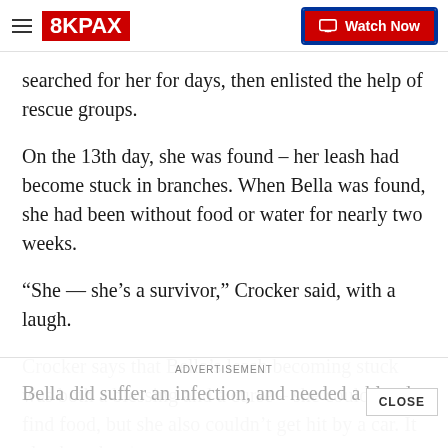8KPAX | Watch Now
searched for her for days, then enlisted the help of rescue groups.
On the 13th day, she was found – her leash had become stuck in branches. When Bella was found, she had been without food or water for nearly two weeks.
“She — she’s a survivor,” Crocker said, with a laugh.
Crocker says that Bella’s leash becoming stuck was both a blessing and a curse – she could go find food, but she also couldn’t get hit by a car. It also kept h… place long enough to be found by a local rescue gr…
Bella did suffer an infection, and needed a blood…